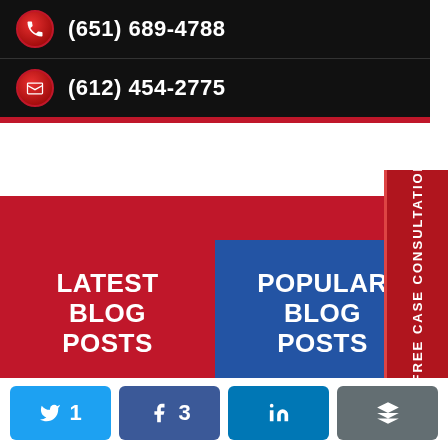(651) 689-4788
(612) 454-2775
LATEST BLOG POSTS
POPULAR BLOG POSTS
FREE CASE CONSULTATION
[Figure (photo): Mailbox scene with green mailbox, red flag, stone wall background, and foliage with yellow flowers]
1
3